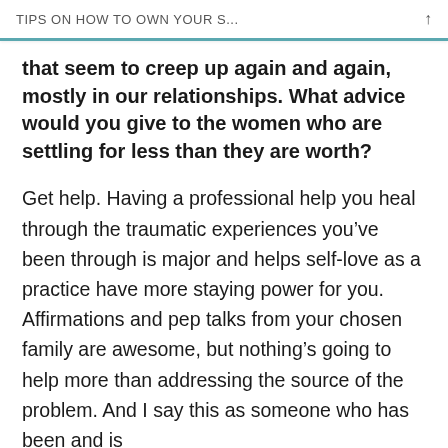TIPS ON HOW TO OWN YOUR S...
that seem to creep up again and again, mostly in our relationships. What advice would you give to the women who are settling for less than they are worth?
Get help. Having a professional help you heal through the traumatic experiences you've been through is major and helps self-love as a practice have more staying power for you. Affirmations and pep talks from your chosen family are awesome, but nothing's going to help more than addressing the source of the problem. And I say this as someone who has been and is